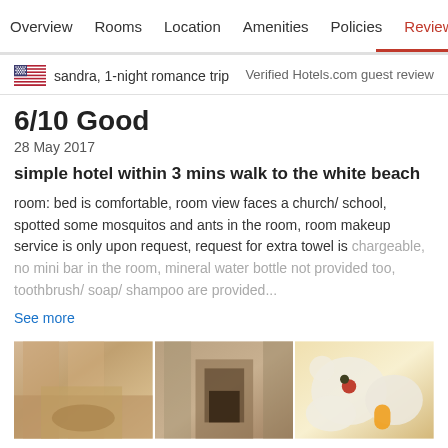Overview   Rooms   Location   Amenities   Policies   Reviews
sandra, 1-night romance trip
Verified Hotels.com guest review
6/10 Good
28 May 2017
simple hotel within 3 mins walk to the white beach
room: bed is comfortable, room view faces a church/ school, spotted some mosquitos and ants in the room, room makeup service is only upon request, request for extra towel is chargeable, no mini bar in the room, mineral water bottle not provided too, toothbrush/ soap/ shampoo are provided...
See more
[Figure (photo): Three hotel room photos showing bathroom with shower curtain, toilet area, and breakfast/food spread]
Verified Expedia guest review